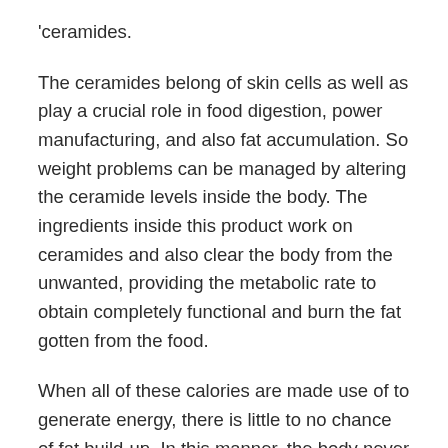'ceramides.
The ceramides belong of skin cells as well as play a crucial role in food digestion, power manufacturing, and also fat accumulation. So weight problems can be managed by altering the ceramide levels inside the body. The ingredients inside this product work on ceramides and also clear the body from the unwanted, providing the metabolic rate to obtain completely functional and burn the fat gotten from the food.
When all of these calories are made use of to generate energy, there is little to no chance of fat build-up. In this manner, the body never ever puts on weight, whatever you consume later.